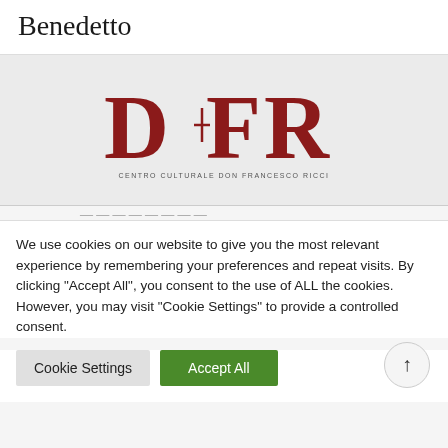Benedetto
[Figure (logo): DFR logo - Centro Culturale Don Francesco Ricci, red serif letters D, F, R with subtitle text]
We use cookies on our website to give you the most relevant experience by remembering your preferences and repeat visits. By clicking "Accept All", you consent to the use of ALL the cookies. However, you may visit "Cookie Settings" to provide a controlled consent.
Cookie Settings
Accept All